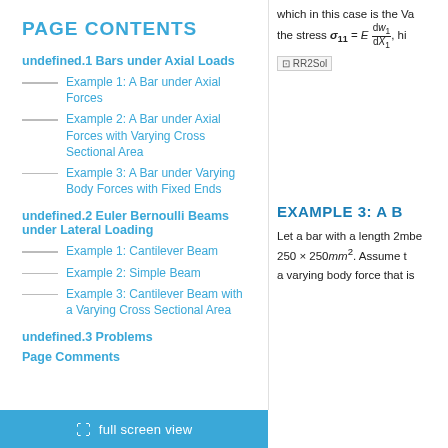PAGE CONTENTS
undefined.1 Bars under Axial Loads
Example 1: A Bar under Axial Forces
Example 2: A Bar under Axial Forces with Varying Cross Sectional Area
Example 3: A Bar under Varying Body Forces with Fixed Ends
undefined.2 Euler Bernoulli Beams under Lateral Loading
Example 1: Cantilever Beam
Example 2: Simple Beam
Example 3: Cantilever Beam with a Varying Cross Sectional Area
undefined.3 Problems
Page Comments
which in this case is the value of the stress σ₁₁ = E dw₁/dX₁, hi
[Figure (other): RR2Sol placeholder image]
EXAMPLE 3: A B
Let a bar with a length 2mbe 250 × 250mm². Assume t a varying body force that is